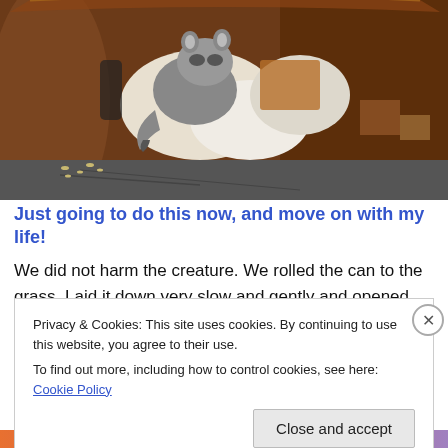[Figure (photo): A raccoon inside a brown plastic trash can, rummaging through trash/garbage. The can is tipped or open, showing the animal amid white bags and debris. The ground outside is cracked pavement with scattered food debris.]
Just going to do this now, and move on with my life!
We did not harm the creature. We rolled the can to the grass. Laid it down very slow and gently and opened the
Privacy & Cookies: This site uses cookies. By continuing to use this website, you agree to their use.
To find out more, including how to control cookies, see here: Cookie Policy